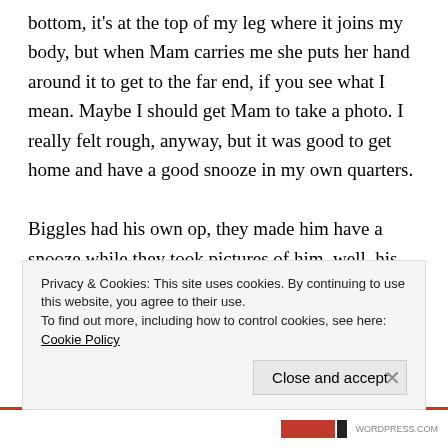bottom, it's at the top of my leg where it joins my body, but when Mam carries me she puts her hand around it to get to the far end, if you see what I mean. Maybe I should get Mam to take a photo. I really felt rough, anyway, but it was good to get home and have a good snooze in my own quarters.

Biggles had his own op, they made him have a snooze while they took pictures of him, well, his insides. It turns out Mam was wrong, and he did have something really wrong with him. He had something called
Privacy & Cookies: This site uses cookies. By continuing to use this website, you agree to their use.
To find out more, including how to control cookies, see here: Cookie Policy
Close and accept